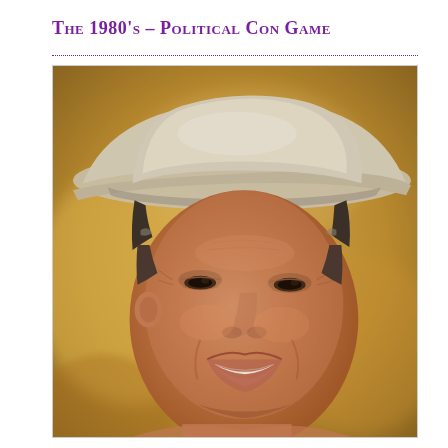The 1980's – Political Con Game
[Figure (photo): Close-up portrait photograph of Ronald Reagan smiling, wearing a light tan/beige cowboy hat, with a warm golden-brown blurred outdoor background.]